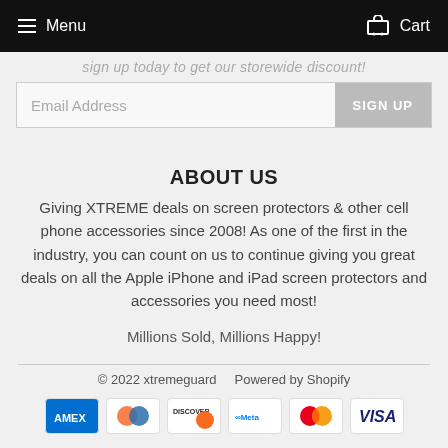Menu  Cart
Sign up today to get our storewide discount!
[Figure (screenshot): Email address input field with SIGN UP button]
ABOUT US
Giving XTREME deals on screen protectors & other cell phone accessories since 2008! As one of the first in the industry, you can count on us to continue giving you great deals on all the Apple iPhone and iPad screen protectors and accessories you need most!
Millions Sold, Millions Happy!
© 2022 xtremeguard   Powered by Shopify
[Figure (infographic): Payment icons: Amex, Diners Club, Discover, Meta Pay, Mastercard, Visa]